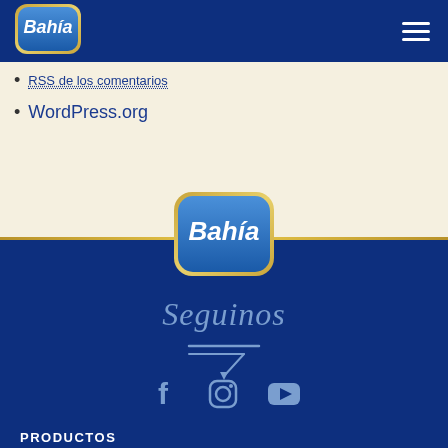[Figure (logo): Bahía brand logo in blue rounded rectangle with gold border, white text 'Bahía' on blue gradient background]
RSS de los comentarios
WordPress.org
[Figure (logo): Bahía brand logo centered, blue rounded rectangle with gold border]
Seguinos
[Figure (illustration): Decorative arrow pointing down, stylized lines]
[Figure (infographic): Social media icons: Facebook, Instagram, YouTube]
PRODUCTOS
Pulpas para pastelería / smoothies